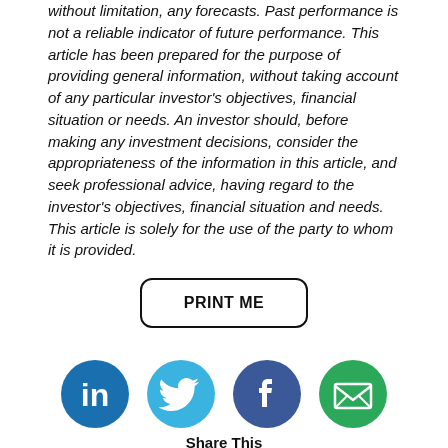without limitation, any forecasts. Past performance is not a reliable indicator of future performance. This article has been prepared for the purpose of providing general information, without taking account of any particular investor's objectives, financial situation or needs. An investor should, before making any investment decisions, consider the appropriateness of the information in this article, and seek professional advice, having regard to the investor's objectives, financial situation and needs. This article is solely for the use of the party to whom it is provided.
[Figure (other): A button labeled PRINT ME with rounded rectangle border]
[Figure (other): Social media sharing icons: LinkedIn (blue circle with 'in'), Twitter (light blue circle with bird), Facebook (blue circle with 'f'), Email (green circle with envelope). Below icons: 'Share This' label.]